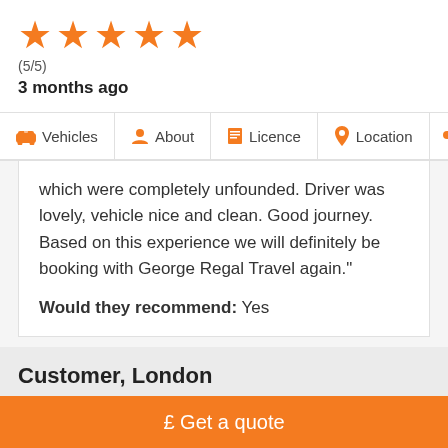[Figure (other): Five orange star rating icons]
(5/5)
3 months ago
Vehicles  About  Licence  Location
which were completely unfounded. Driver was lovely, vehicle nice and clean. Good journey. Based on this experience we will definitely be booking with George Regal Travel again."
Would they recommend: Yes
Customer, London
£ Get a quote